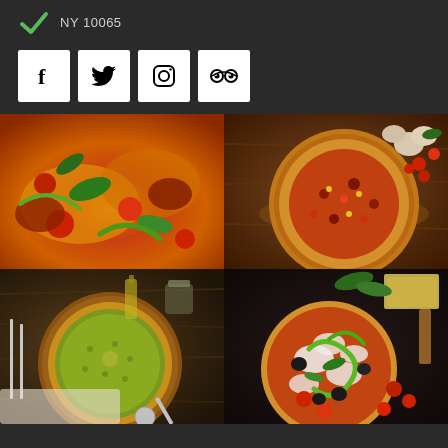NY 10065
[Figure (logo): Green checkmark / V logo]
[Figure (infographic): Social media icons: Facebook, Twitter, Instagram, TripAdvisor]
[Figure (photo): Close-up of pizza with basil leaves, cherry tomatoes and melted cheese on orange background]
[Figure (photo): Pizza on wooden board with mushrooms and cherry tomatoes in background]
[Figure (photo): Green herb pizza in round pan with pizza cutter, oil bottle, cutlery]
[Figure (photo): Decorative pizza with olives, green pepper swirls, basil, cherry tomatoes and mozzarella]